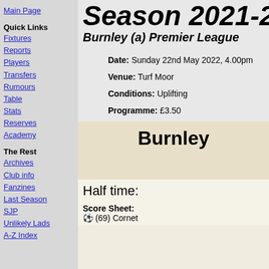Main Page
Quick Links
Fixtures
Reports
Players
Transfers
Rumours
Table
Stats
Reserves
Academy
The Rest
Archives
Club info
Fanzines
Last Season
SJP
Unlikely Lads
A-Z Index
Season 2021-2
Burnley (a) Premier League
Date: Sunday 22nd May 2022, 4.00pm
Venue: Turf Moor
Conditions: Uplifting
Programme: £3.50
Burnley
Half time:
Score Sheet:
⚽ (69) Cornet